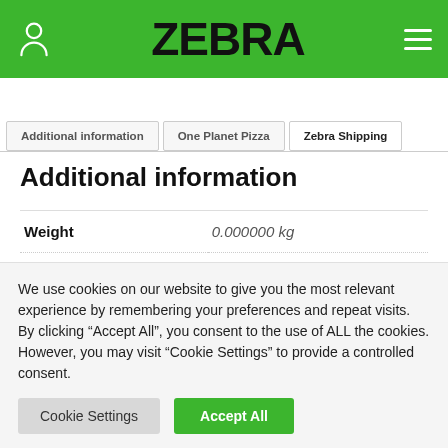ZEBRA
Additional information | One Planet Pizza | Zebra Shipping
Additional information
|  |  |
| --- | --- |
| Weight | 0.000000 kg |
We use cookies on our website to give you the most relevant experience by remembering your preferences and repeat visits. By clicking “Accept All”, you consent to the use of ALL the cookies. However, you may visit “Cookie Settings” to provide a controlled consent.
Cookie Settings | Accept All